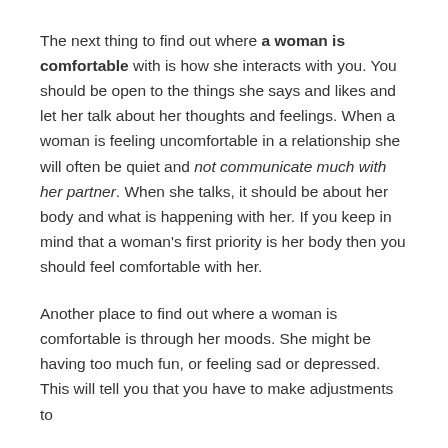The next thing to find out where a woman is comfortable with is how she interacts with you. You should be open to the things she says and likes and let her talk about her thoughts and feelings. When a woman is feeling uncomfortable in a relationship she will often be quiet and not communicate much with her partner. When she talks, it should be about her body and what is happening with her. If you keep in mind that a woman's first priority is her body then you should feel comfortable with her.
Another place to find out where a woman is comfortable is through her moods. She might be having too much fun, or feeling sad or depressed. This will tell you that you have to make adjustments to